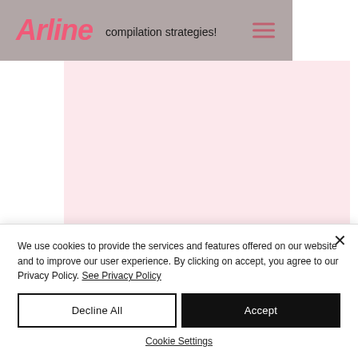Arline — compilation strategies!
[Figure (screenshot): Pink/light rose colored rectangular content area below navigation bar]
We use cookies to provide the services and features offered on our website and to improve our user experience. By clicking on accept, you agree to our Privacy Policy. See Privacy Policy
Decline All
Accept
Cookie Settings